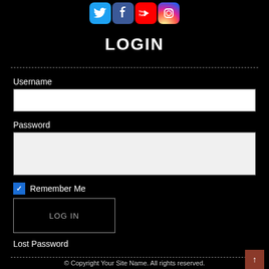[Figure (logo): Social media icons: Twitter, Facebook, YouTube, Instagram]
LOGIN
Username
[Figure (screenshot): Username text input field (white background)]
Password
[Figure (screenshot): Password text input field (light gray background)]
Remember Me
LOG IN
Lost Password
© Copyright Your Site Name. All rights reserved.